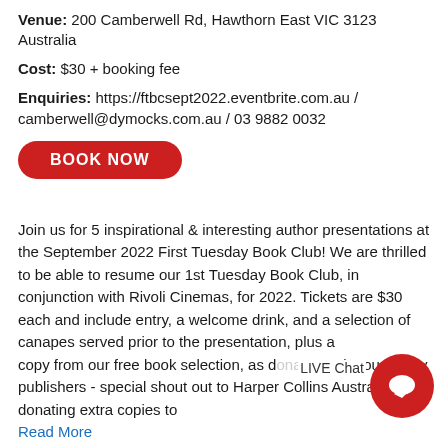Venue: 200 Camberwell Rd, Hawthorn East VIC 3123 Australia
Cost: $30 + booking fee
Enquiries: https://ftbcsept2022.eventbrite.com.au / camberwell@dymocks.com.au / 03 9882 0032
BOOK NOW
Join us for 5 inspirational & interesting author presentations at the September 2022 First Tuesday Book Club! We are thrilled to be able to resume our 1st Tuesday Book Club, in conjunction with Rivoli Cinemas, for 2022. Tickets are $30 each and include entry, a welcome drink, and a selection of canapes served prior to the presentation, plus a copy from our free book selection, as donated to be by our lovely publishers - special shout out to Harper Collins Australia for donating extra copies to
Read More
LIVE Chat